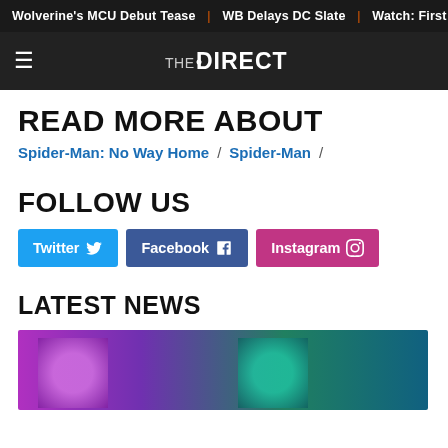Wolverine's MCU Debut Tease | WB Delays DC Slate | Watch: First
THE DIRECT
READ MORE ABOUT
Spider-Man: No Way Home / Spider-Man /
FOLLOW US
Twitter  Facebook  Instagram
LATEST NEWS
[Figure (photo): Two people under colorful purple and teal lighting]